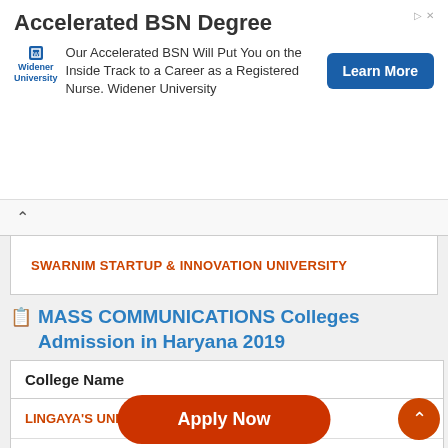[Figure (other): Advertisement banner for Widener University Accelerated BSN Degree with Learn More button]
SWARNIM STARTUP & INNOVATION UNIVERSITY
MASS COMMUNICATIONS Colleges Admission in Haryana 2019
| College Name |
| --- |
| LINGAYA'S UNIVERSITY |
| MANAV RACHNA INTERNATIONAL INSTITUTE OF RESEARCH |
| AMITY UNIVERSITY GURUGRAM | HARYANA |
| APEEJAY STYA UNIVERSITY | HARYANA |
| BABA MASTNAT... |
Apply Now